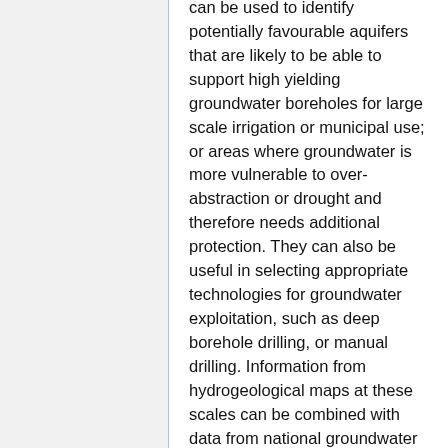can be used to identify potentially favourable aquifers that are likely to be able to support high yielding groundwater boreholes for large scale irrigation or municipal use; or areas where groundwater is more vulnerable to over-abstraction or drought and therefore needs additional protection. They can also be useful in selecting appropriate technologies for groundwater exploitation, such as deep borehole drilling, or manual drilling. Information from hydrogeological maps at these scales can be combined with data from national groundwater monitoring, such as groundwater level fluctuations or groundwater chemistry, to support water resource management. Some countries also have thematic groundwater maps, which show groundwater vulnerability to